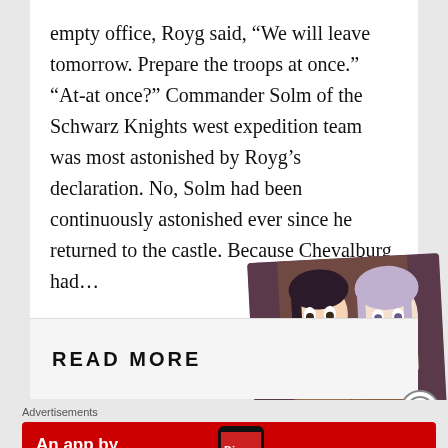empty office, Royg said, “We will leave tomorrow. Prepare the troops at once.” “At-at once?” Commander Solm of the Schwarz Knights west expedition team was most astonished by Royg’s declaration. No, Solm had been continuously astonished ever since he returned to the castle. Because Chevalburg had…
READ MORE
[Figure (illustration): Anime-style illustration showing two characters, one with dark hair and one with light/purple hair, near a wooden crate with produce]
Advertisements
[Figure (screenshot): Red advertisement banner for Pocket Casts app. Text reads: An app by listeners, for listeners. Shows a phone graphic with Distributed text and the Pocket Casts logo.]